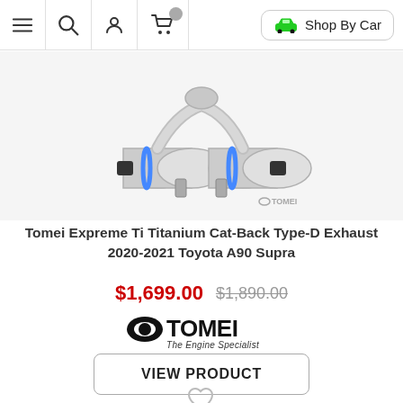Navigation bar with menu, search, account, cart icons, and Shop By Car button
[Figure (photo): Tomei exhaust system product photo showing stainless steel cat-back exhaust with blue-tinted tips, dual outlets, with TOMEI watermark logo]
Tomei Expreme Ti Titanium Cat-Back Type-D Exhaust 2020-2021 Toyota A90 Supra
$1,699.00  $1,890.00
[Figure (logo): TOMEI The Engine Specialist brand logo in black]
VIEW PRODUCT
[Figure (illustration): Heart/wishlist icon outline]